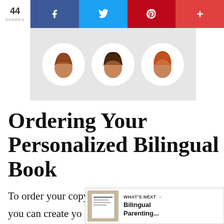44 SHARES | Facebook | Twitter | Pinterest | +
[Figure (illustration): Three circular illustrated character icons on a light gray banner background — showing stylized human head silhouettes with colorful hair/hats]
Ordering Your Personalized Bilingual Book
To order your copy of this exciting personalized bilingual book, head to TimTimTom where you can create your and view it before ordering.
[Figure (screenshot): What's Next widget showing a thumbnail of a book and text: WHAT'S NEXT → Bilingual Parenting...]